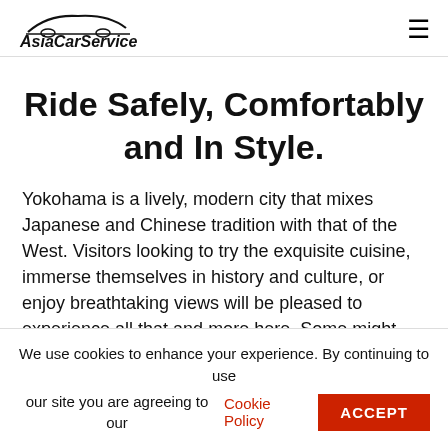AsiaCarService
Ride Safely, Comfortably and In Style.
Yokohama is a lively, modern city that mixes Japanese and Chinese tradition with that of the West. Visitors looking to try the exquisite cuisine, immerse themselves in history and culture, or enjoy breathtaking views will be pleased to experience all that and more here. Some might even consider hopping on a cruise at Tokyo's Yokohama Cruise Port.
We use cookies to enhance your experience. By continuing to use our site you are agreeing to our Cookie Policy  ACCEPT